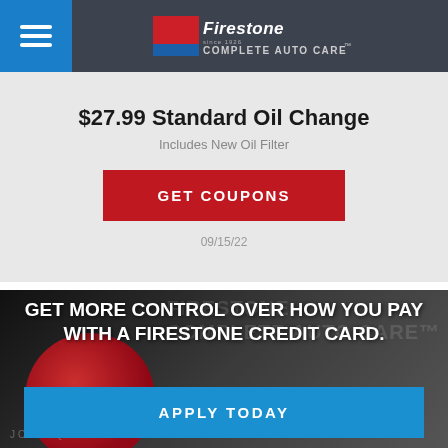Firestone Complete Auto Care
$27.99 Standard Oil Change
Includes New Oil Filter
GET COUPONS
09/15/22
[Figure (photo): Firestone credit card promotional banner showing a dark background with a Firestone credit card partially visible]
GET MORE CONTROL OVER HOW YOU PAY WITH A FIRESTONE CREDIT CARD.
APPLY TODAY